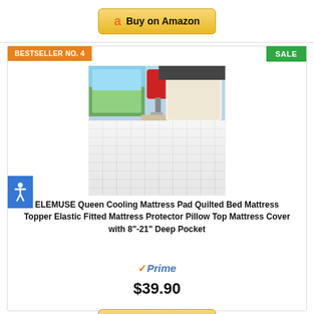[Figure (other): Amazon 'Buy on Amazon' button at top of page]
BESTSELLER NO. 4
SALE
[Figure (photo): White quilted mattress pad/topper product photo showing a bed with pillows and a red lamp in background]
ELEMUSE Queen Cooling Mattress Pad Quilted Bed Mattress Topper Elastic Fitted Mattress Protector Pillow Top Mattress Cover with 8"-21" Deep Pocket
Prime
$39.90
[Figure (other): Amazon 'Buy on Amazon' button at bottom of page]